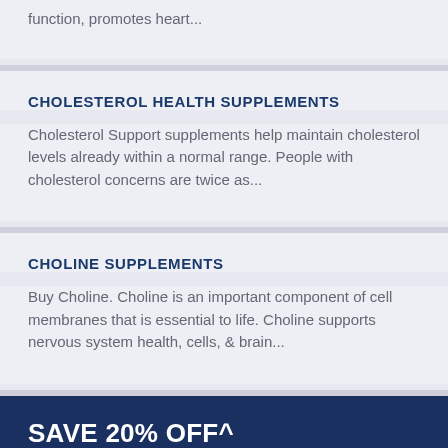function, promotes heart...
CHOLESTEROL HEALTH SUPPLEMENTS
Cholesterol Support supplements help maintain cholesterol levels already within a normal range. People with cholesterol concerns are twice as...
CHOLINE SUPPLEMENTS
Buy Choline. Choline is an important component of cell membranes that is essential to life. Choline supports nervous system health, cells, & brain...
SAVE 20% OFF^
when you sign up for...